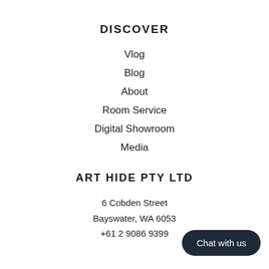DISCOVER
Vlog
Blog
About
Room Service
Digital Showroom
Media
ART HIDE PTY LTD
6 Cobden Street
Bayswater, WA 6053
+61 2 9086 9399
Chat with us